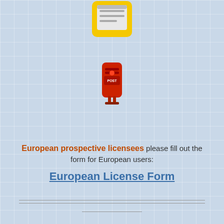[Figure (illustration): Yellow computer/form icon at top]
[Figure (illustration): Red British mailbox/post box icon]
European prospective licensees please fill out the form for European users:
European License Form
Prospective licensees in the Canadian-American area may contact the CanAm users group and fill out the following license form and send it to
United States License form